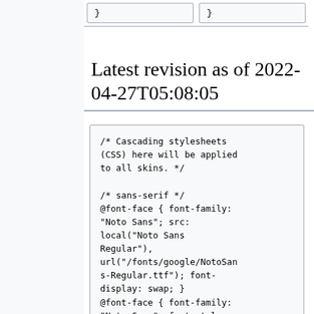}
}
Latest revision as of 2022-04-27T05:08:05
/* Cascading stylesheets (CSS) here will be applied to all skins. */

/* sans-serif */
@font-face { font-family: "Noto Sans"; src: local("Noto Sans Regular"), url("/fonts/google/NotoSans-Regular.ttf"); font-display: swap; }
@font-face { font-family: "Noto Sans"; font-style: italic; src: local("Noto Sans Italic"), url("/fonts/google/NotoSan